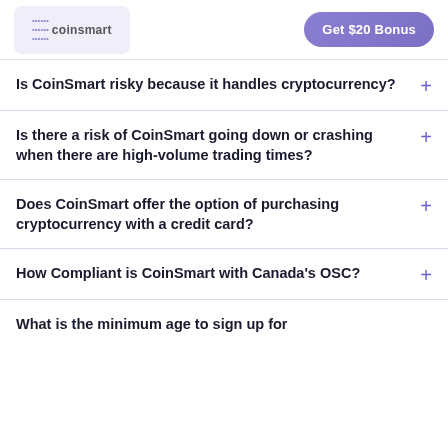coinsmart | Get $20 Bonus
Is CoinSmart risky because it handles cryptocurrency?
Is there a risk of CoinSmart going down or crashing when there are high-volume trading times?
Does CoinSmart offer the option of purchasing cryptocurrency with a credit card?
How Compliant is CoinSmart with Canada's OSC?
What is the minimum age to sign up for